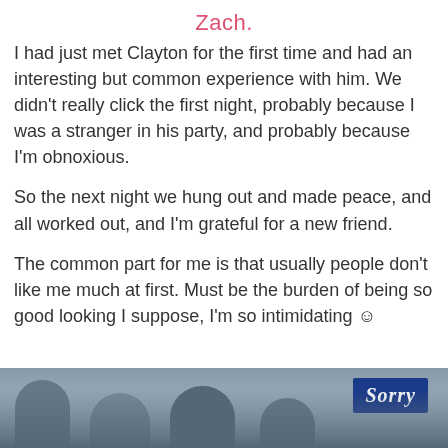Zach.
I had just met Clayton for the first time and had an interesting but common experience with him. We didn't really click the first night, probably because I was a stranger in his party, and probably because I'm obnoxious.
So the next night we hung out and made peace, and all worked out, and I'm grateful for a new friend.
The common part for me is that usually people don't like me much at first. Must be the burden of being so good looking I suppose, I'm so intimidating ☺
[Figure (photo): A group photo of people smiling, with a blue sign partially visible on the right side showing cursive text 'Sorry'.]